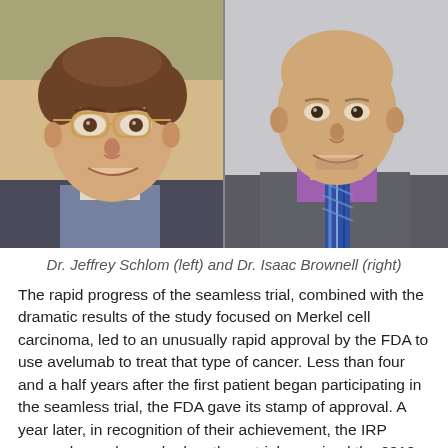[Figure (photo): Two side-by-side headshot photos: Dr. Jeffrey Schlom on the left (man with glasses and curly hair) and Dr. Isaac Brownell on the right (bald man in purple shirt and striped tie, gray suit)]
Dr. Jeffrey Schlom (left) and Dr. Isaac Brownell (right)
The rapid progress of the seamless trial, combined with the dramatic results of the study focused on Merkel cell carcinoma, led to an unusually rapid approval by the FDA to use avelumab to treat that type of cancer. Less than four and a half years after the first patient began participating in the seamless trial, the FDA gave its stamp of approval. A year later, in recognition of their achievement, the IRP researchers who worked on these trials received the 2018 Hubert H. Humphrey Award for Service to America.